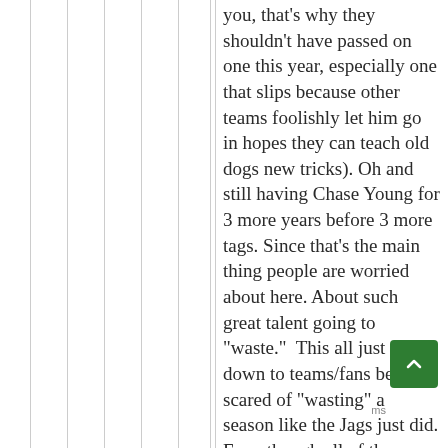you, that's why they shouldn't have passed on one this year, especially one that slips because other teams foolishly let him go in hopes they can teach old dogs new tricks). Oh and still having Chase Young for 3 more years before 3 more tags. Since that's the main thing people are worried about here. About such great talent going to "waste."  This all just comes down to teams/fans being scared of "wasting" a season like the Jags just did. Even though all of them are pumped now for Lawrence no matter how dumb it was for them to draft Etienne in the